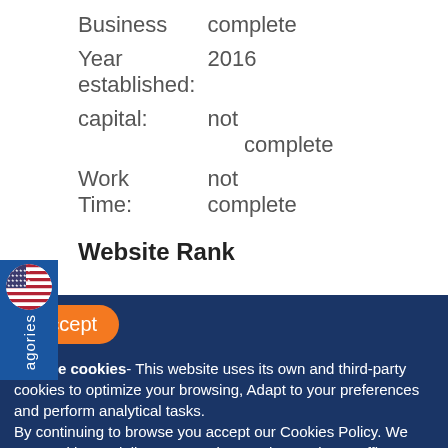| Business | complete |
| Year established: | 2016 |
| capital: | not complete |
| Work Time: | not complete |
Website Rank
Accept
We use cookies- This website uses its own and third-party cookies to optimize your browsing, Adapt to your preferences and perform analytical tasks.
By continuing to browse you accept our Cookies Policy. We use cookies to deliver our services and to analyze traffic.
United States